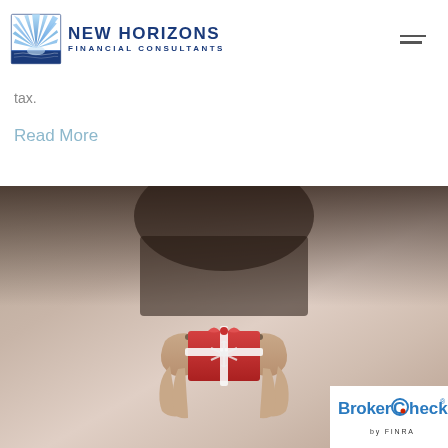NEW HORIZONS FINANCIAL CONSULTANTS
tax.
Read More
[Figure (photo): Hands holding a small red gift box with white snowflake pattern, person wearing dark clothing, warm brownish tones, BrokerCheck by FINRA badge in bottom right corner]